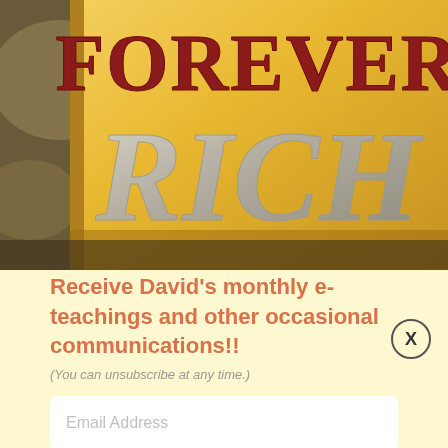[Figure (photo): Close-up photograph of a book cover reading 'FOREVER RICH' with large silver and gold lettering on a yellow background]
Receive David's monthly e-teachings and other occasional communications!!
(You can unsubscribe at any time.)
Email Address
Subscribe